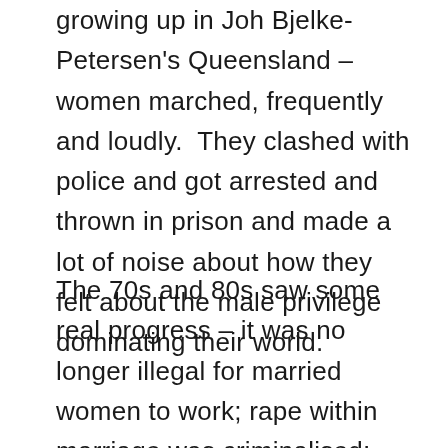growing up in Joh Bjelke-Petersen's Queensland – women marched, frequently and loudly.  They clashed with police and got arrested and thrown in prison and made a lot of noise about how they felt about the male privilege dominating their world.
The 70s and 80s saw some real progress – it was no longer illegal for married women to work; rape within marriage was criminalised; women could apply for loans as individuals without needing a